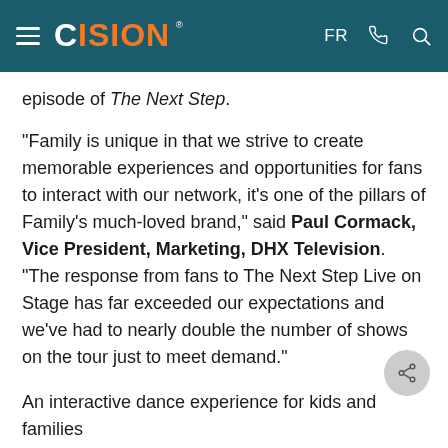CISION  FR
episode of The Next Step.
"Family is unique in that we strive to create memorable experiences and opportunities for fans to interact with our network, it's one of the pillars of Family's much-loved brand," said Paul Cormack, Vice President, Marketing, DHX Television. "The response from fans to The Next Step Live on Stage has far exceeded our expectations and we've had to nearly double the number of shows on the tour just to meet demand."
An interactive dance experience for kids and families